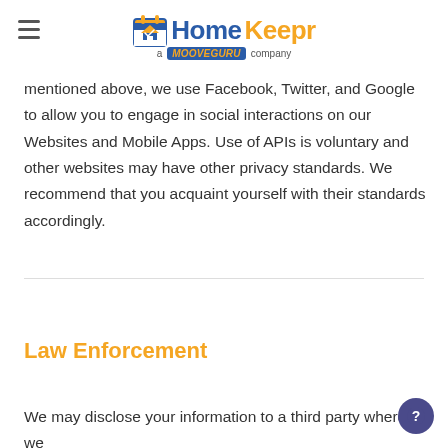HomeKeepr — a MooveGuru company
mentioned above, we use Facebook, Twitter, and Google to allow you to engage in social interactions on our Websites and Mobile Apps. Use of APIs is voluntary and other websites may have other privacy standards. We recommend that you acquaint yourself with their standards accordingly.
Law Enforcement
We may disclose your information to a third party where we